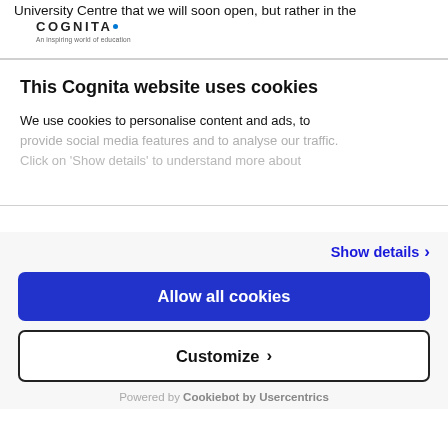University Centre that we will soon open, but rather in the
[Figure (logo): Cognita logo with tagline 'An inspiring world of education']
This Cognita website uses cookies
We use cookies to personalise content and ads, to provide social media features and to analyse our traffic. Click on 'Show details' to understand more about
Show details ›
Allow all cookies
Customize ›
Powered by Cookiebot by Usercentrics